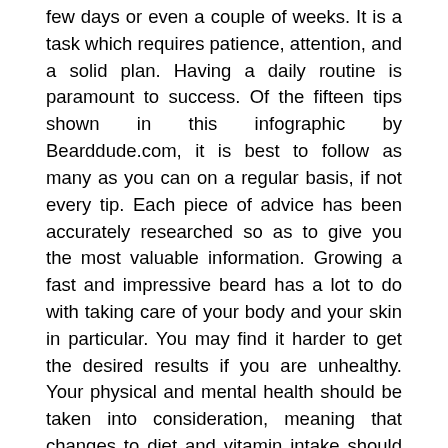few days or even a couple of weeks. It is a task which requires patience, attention, and a solid plan. Having a daily routine is paramount to success. Of the fifteen tips shown in this infographic by Bearddude.com, it is best to follow as many as you can on a regular basis, if not every tip. Each piece of advice has been accurately researched so as to give you the most valuable information. Growing a fast and impressive beard has a lot to do with taking care of your body and your skin in particular. You may find it harder to get the desired results if you are unhealthy. Your physical and mental health should be taken into consideration, meaning that changes to diet and vitamin intake should be examined. Particular care must also be given to your face as this is the foundation of your growth.
It will not always be easy, but if you really want fast beard growth you will find it to be worthwhile. There might be times when you want to shave your facial hair off because it is taking too long to fully grow or because it is too itchy but by following the advice laid out in the infographic these will not be problems to worry about. Taking a serious look at these tips and applying them to your daily routine is the best way to yield the desired results and have you with a fully grown, impressive, and stylish